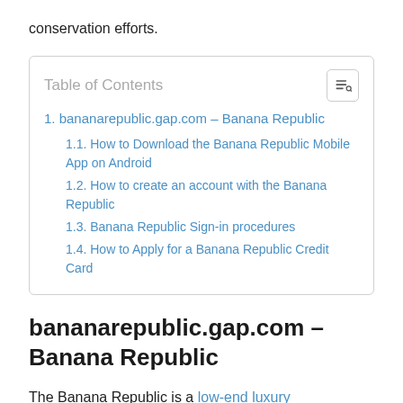conservation efforts.
| Table of Contents |
| --- |
| 1. bananarepublic.gap.com – Banana Republic |
| 1.1. How to Download the Banana Republic Mobile App on Android |
| 1.2. How to create an account with the Banana Republic |
| 1.3. Banana Republic Sign-in procedures |
| 1.4. How to Apply for a Banana Republic Credit Card |
bananarepublic.gap.com – Banana Republic
The Banana Republic is a low-end luxury